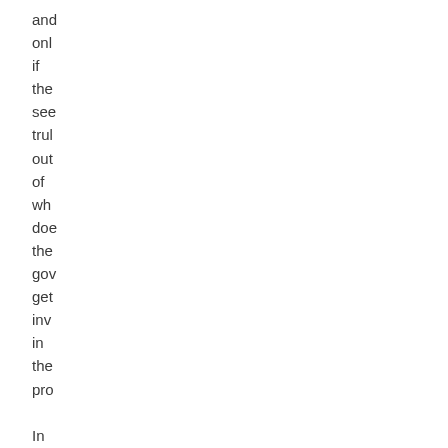and only if the see trul out of wha doe the gov get inv in the pro In any cas the aut has